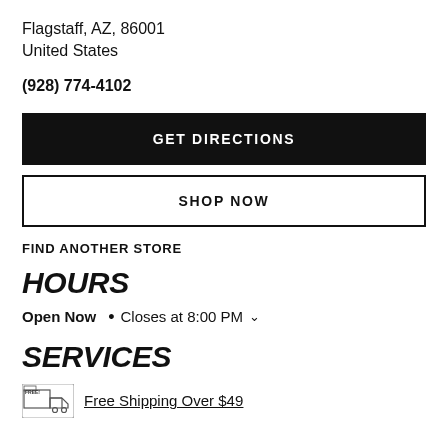Flagstaff, AZ, 86001
United States
(928) 774-4102
GET DIRECTIONS
SHOP NOW
FIND ANOTHER STORE
HOURS
Open Now • Closes at 8:00 PM
SERVICES
Free Shipping Over $49